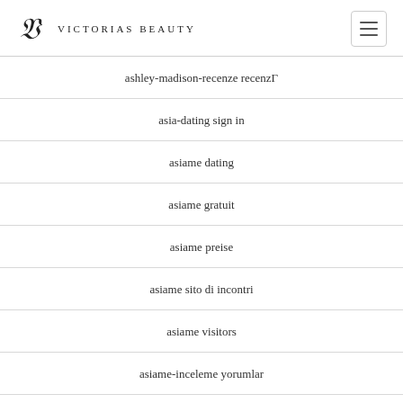Victorias Beauty
ashley-madison-recenze recenzÍ
asia-dating sign in
asiame dating
asiame gratuit
asiame preise
asiame sito di incontri
asiame visitors
asiame-inceleme yorumlar
asiame-overzicht Review